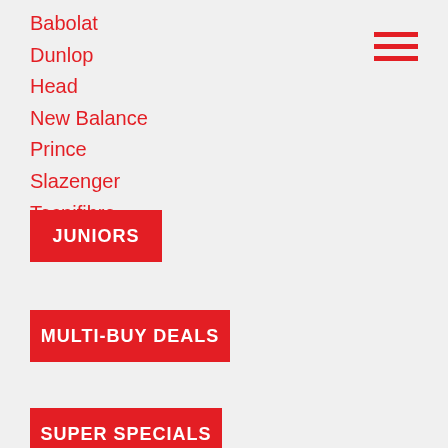Babolat
Dunlop
Head
New Balance
Prince
Slazenger
Tecnifibre
[Figure (other): Hamburger menu icon with three red horizontal lines]
JUNIORS
MULTI-BUY DEALS
SUPER SPECIALS